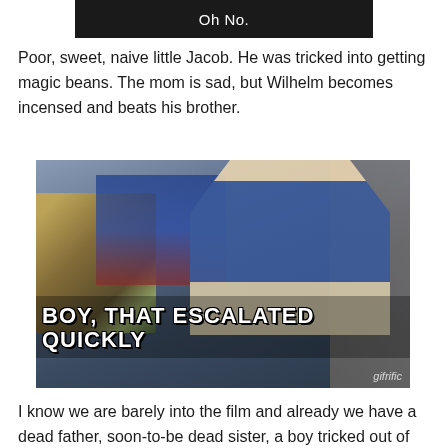[Figure (screenshot): Top portion of a dark screenshot showing the text 'Oh No.' in white on a black/dark background]
Poor, sweet, naive little Jacob. He was tricked into getting magic beans. The mom is sad, but Wilhelm becomes incensed and beats his brother.
[Figure (photo): Meme image of a man in a blue suit holding a bottle, sitting in an office with trophies and photos in the background. White bold text at bottom reads 'BOY, THAT ESCALATED QUICKLY'. 'gifrific' watermark in bottom right.]
I know we are barely into the film and already we have a dead father, soon-to-be dead sister, a boy tricked out of everything, and then one brother getting beat by the other.